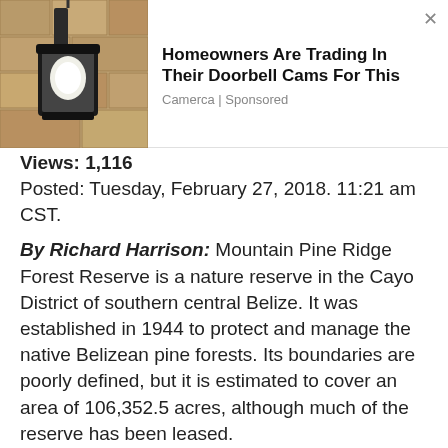[Figure (screenshot): Advertisement banner showing a wall-mounted lamp/light fixture. Ad headline: 'Homeowners Are Trading In Their Doorbell Cams For This', source: 'Camerca | Sponsored']
Views: 1,116
Posted: Tuesday, February 27, 2018. 11:21 am CST.
By Richard Harrison: Mountain Pine Ridge Forest Reserve is a nature reserve in the Cayo District of southern central Belize. It was established in 1944 to protect and manage the native Belizean pine forests. Its boundaries are poorly defined, but it is estimated to cover an area of 106,352.5 acres, although much of the reserve has been leased.
The reserve is predominantly pine forest (58.5%), primarily Honduras pine, Pinus caribaea var. hondurensis, but with a